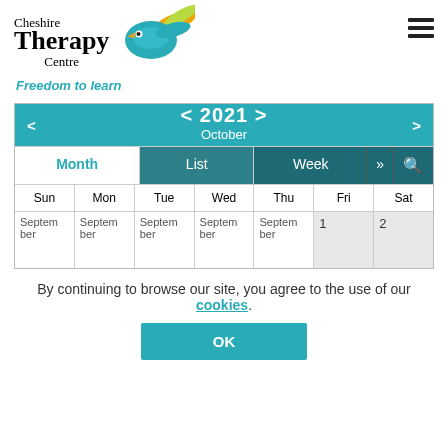[Figure (logo): Cheshire Therapy Centre logo with a teal/green bird and the tagline 'Freedom to learn']
|  | < 2021 > | October |  |
| --- | --- | --- | --- |
| Month | List | Week | » | 🔍 |
| Sun | Mon | Tue | Wed | Thu | Fri | Sat |
| September | September | September | September | September | 1 | 2 |
By continuing to browse our site, you agree to the use of our cookies.
OK